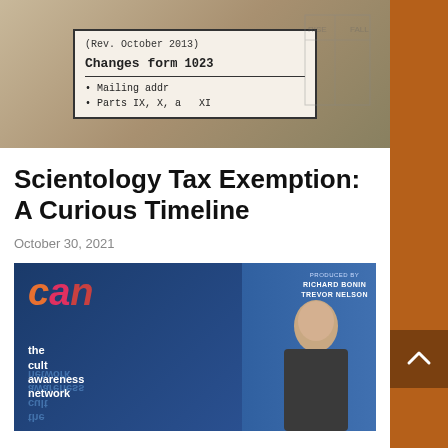[Figure (photo): A partially visible IRS Form 1023 document showing text '(Rev. October 2013)', 'Changes for Form 1023', 'Mailing addr...', 'Parts IX, X, a... XI', with a chalkboard visible in the background showing a hand-drawn table with 'RISE' and 'FALL' labels.]
Scientology Tax Exemption: A Curious Timeline
October 30, 2021
[Figure (screenshot): A TV screenshot of a show about 'CAN the cult awareness network', produced by Richard Bonin and Trevor Nelson. The left side shows a large colorful logo with the letters 'CAN' in orange, pink, and red, with 'the cult awareness network' text below. The right side shows a female news anchor seated in front of a blue backdrop with the 'CAN' graphic.]
How Scientology Takes